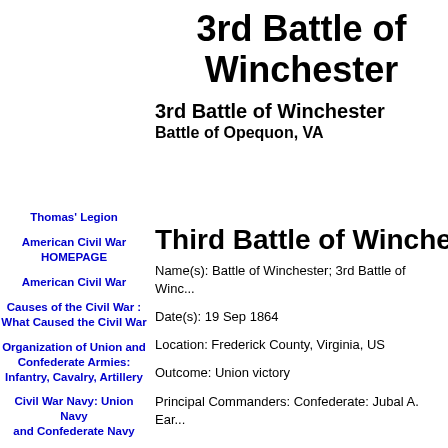3rd Battle of Winchester
3rd Battle of Winchester
Battle of Opequon, VA
Thomas' Legion
American Civil War HOMEPAGE
American Civil War
Causes of the Civil War : What Caused the Civil War
Organization of Union and Confederate Armies: Infantry, Cavalry, Artillery
Civil War Navy: Union Navy and Confederate Navy
American Civil War: The Soldier's Life
Civil War Turning Points
American Civil War: Casualties, Battles and Battlefields
Civil War Casualties, Fatalities & Statistics
Civil War Generals
Third Battle of Winchester
Name(s): Battle of Winchester; 3rd Battle of Winch...
Date(s): 19 Sep 1864
Location: Frederick County, Virginia, US
Outcome: Union victory
Principal Commanders: Confederate: Jubal A. Ear...